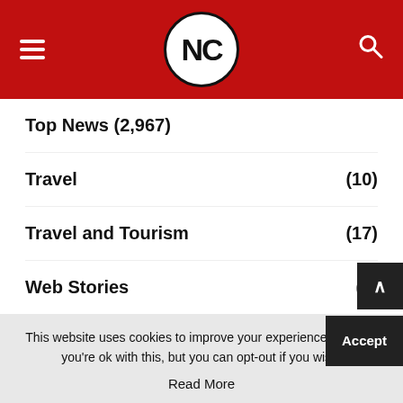NC (logo) — hamburger menu and search icon
Top News (2,967)
Travel (10)
Travel and Tourism (17)
Web Stories (8)
This website uses cookies to improve your experience. We'll as you're ok with this, but you can opt-out if you wish. Accept Read More